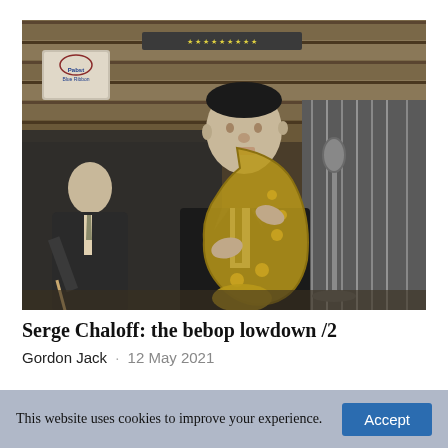[Figure (photo): Black and white photograph of a musician playing a saxophone (Serge Chaloff) on stage, with a drummer visible in the background on the left, microphone stand to the right, log cabin wall in the background, and a Pabst Blue Ribbon beer sign visible in the upper left.]
Serge Chaloff: the bebop lowdown /2
Gordon Jack · 12 May 2021
In the mid 1950s Chaloff from Chris Caulfield to...
This website uses cookies to improve your experience.